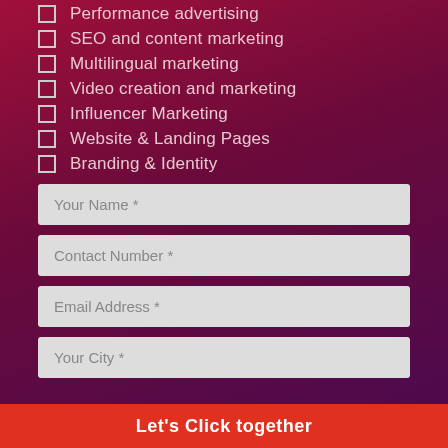Performance advertising
SEO and content marketing
Multilingual marketing
Video creation and marketing
Influencer Marketing
Website & Landing Pages
Branding & Identity
Your Name *
Contact Number *
Email Address *
Your City *
Let's Click together